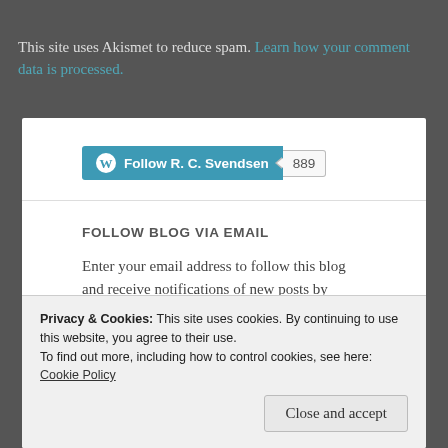This site uses Akismet to reduce spam. Learn how your comment data is processed.
[Figure (other): WordPress Follow button for R. C. Svendsen with follower count 889]
FOLLOW BLOG VIA EMAIL
Enter your email address to follow this blog and receive notifications of new posts by email.
Privacy & Cookies: This site uses cookies. By continuing to use this website, you agree to their use. To find out more, including how to control cookies, see here: Cookie Policy